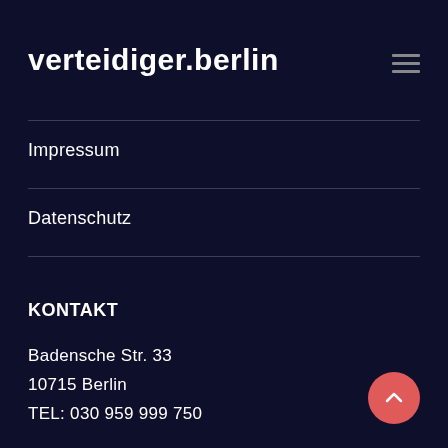verteidiger.berlin
Impressum
Datenschutz
KONTAKT
Badensche Str. 33
10715 Berlin
TEL: 030 959 999 750